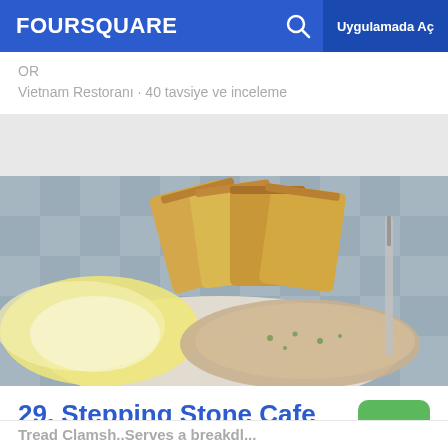FOURSQUARE  Uygulamada Aç
OR
Vietnam Restoranı · 40 tavsiye ve inceleme
[Figure (photo): Photo of breakfast plate with toast, scrambled eggs, and gravy on a black and white checkered tablecloth]
29. Stepping Stone Cafe
8.4
2390 NW Quimby St (at NW 24th Ave), Portland, OR
Diner · 79 tavsiye ve inceleme